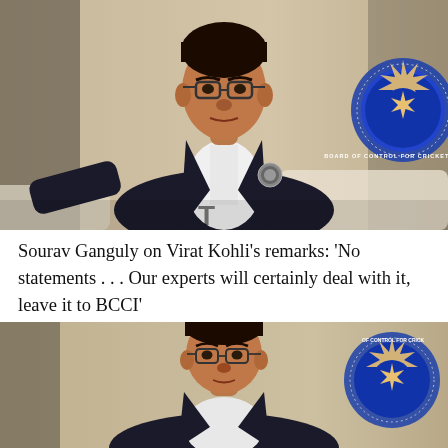[Figure (photo): Sourav Ganguly in dark suit seated at BCCI event, BCCI logo visible in background]
Sourav Ganguly on Virat Kohli’s remarks: ‘No statements … Our experts will certainly deal with it, leave it to BCCI’
[Figure (photo): Sourav Ganguly close-up in dark suit, BCCI logo visible in background]